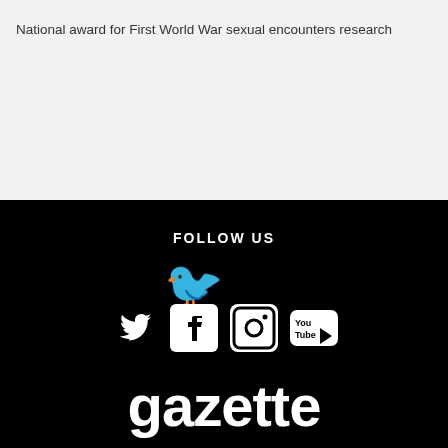National award for First World War sexual encounters research
FOLLOW US
[Figure (logo): Social media icons: Twitter, Facebook, Instagram, YouTube]
gazette